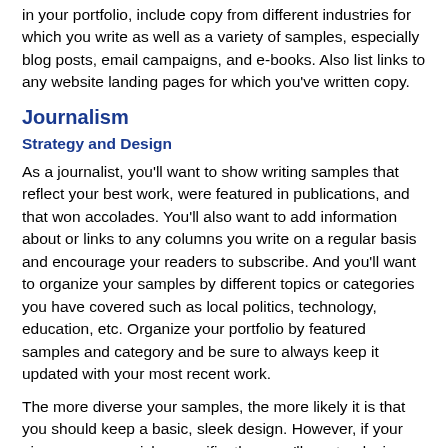in your portfolio, include copy from different industries for which you write as well as a variety of samples, especially blog posts, email campaigns, and e-books. Also list links to any website landing pages for which you've written copy.
Journalism
Strategy and Design
As a journalist, you'll want to show writing samples that reflect your best work, were featured in publications, and that won accolades. You'll also want to add information about or links to any columns you write on a regular basis and encourage your readers to subscribe. And you'll want to organize your samples by different topics or categories you have covered such as local politics, technology, education, etc. Organize your portfolio by featured samples and category and be sure to always keep it updated with your most recent work.
The more diverse your samples, the more likely it is that you should keep a basic, sleek design. However, if your pieces are very niche-specific, then you'll want a design or theme that reflects your niche. For instance, a journalist who covers environmental issues may want a theme with earth tones.